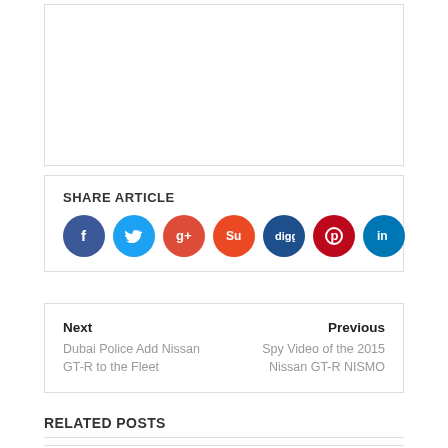[Figure (other): Empty white box with border, representing an advertisement or image placeholder]
SHARE ARTICLE
[Figure (infographic): Social sharing icons: Facebook (blue), Twitter (light blue), Google+ (red-orange), StumbleUpon (orange-red), Digg (dark blue), Pinterest (dark red), LinkedIn (blue)]
Next
Dubai Police Add Nissan GT-R to the Fleet
Previous
Spy Video of the 2015 Nissan GT-R NISMO
RELATED POSTS